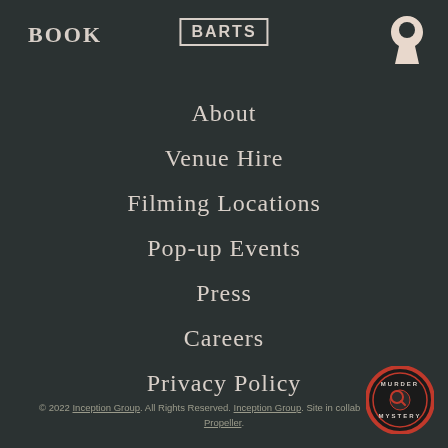BOOK
BARTS
[Figure (illustration): Keyhole icon in pale pink/cream color, top right corner]
About
Venue Hire
Filming Locations
Pop-up Events
Press
Careers
Privacy Policy
© 2022 Inception Group. All Rights Reserved. Inception Group. Site in collaboration with Propeller.
[Figure (logo): Murder Mystery circular badge logo, bottom right corner, red and black circular seal with magnifying glass icon]